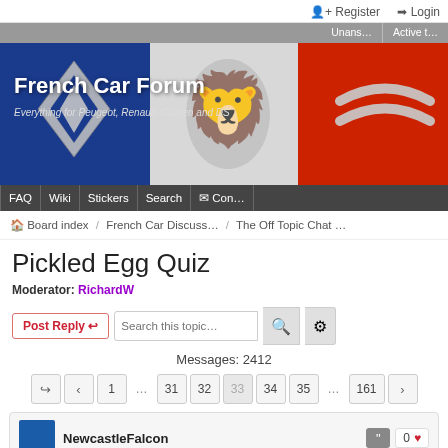Register   Login
[Figure (screenshot): French Car Forum banner with Renault, Peugeot, and Citroen logos over French flag background. Tagline: Everything for Peugeot, Renault, Citroen and DS]
FAQ  Wiki  Stickers  Search  Con...
Board index / French Car Discuss... / The Off Topic Chat ...
Pickled Egg Quiz
Moderator: RichardW
Post Reply  Search this topic...
Messages: 2412
1 ... 31 32 33 34 35 ... 161
NewcastleFalcon   0